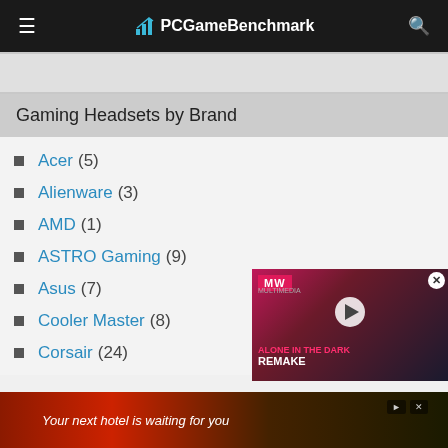PCGameBenchmark
Gaming Headsets by Brand
Acer (5)
Alienware (3)
AMD (1)
ASTRO Gaming (9)
Asus (7)
Cooler Master (8)
Corsair (24)
[Figure (screenshot): Video overlay for 'Alone in the Dark Remake' with MW logo, play button, and pink/dark background]
[Figure (screenshot): Advertisement banner: 'Your next hotel is waiting for you' with dark scenic background]